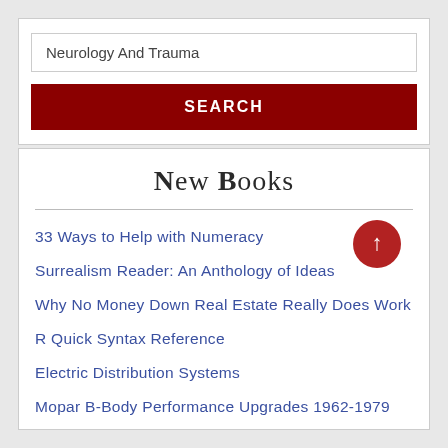Neurology And Trauma
SEARCH
New Books
33 Ways to Help with Numeracy
Surrealism Reader: An Anthology of Ideas
Why No Money Down Real Estate Really Does Work
R Quick Syntax Reference
Electric Distribution Systems
Mopar B-Body Performance Upgrades 1962-1979